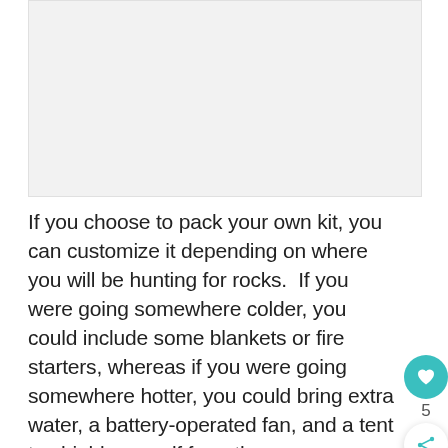[Figure (other): Image placeholder area, light gray background]
If you choose to pack your own kit, you can customize it depending on where you will be hunting for rocks.  If you were going somewhere colder, you could include some blankets or fire starters, whereas if you were going somewhere hotter, you could bring extra water, a battery-operated fan, and a tent to shield yourself from the sun.